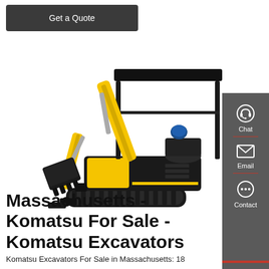Get a Quote
[Figure (photo): Yellow and black mini excavator / compact excavator with hydraulic arm, bucket attachments, canopy roof, and rubber tracks, on white background.]
[Figure (infographic): Right sidebar with dark grey background containing three contact options: Chat (headset icon), Email (envelope icon), Contact (speech bubble with dots icon), separated by red divider lines.]
Massachusetts - Komatsu For Sale - Komatsu Excavators
Komatsu Excavators For Sale in Massachusetts: 18